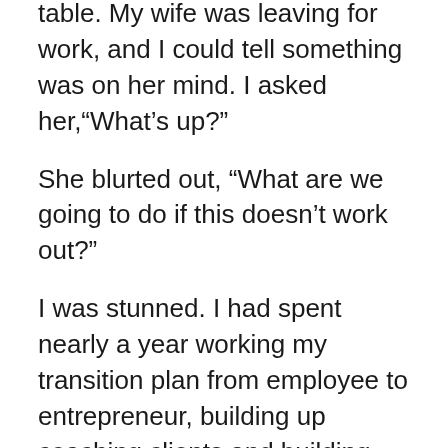table. My wife was leaving for work, and I could tell something was on her mind. I asked her,“What’s up?”
She blurted out, “What are we going to do if this doesn’t work out?”
I was stunned. I had spent nearly a year working my transition plan from employee to entrepreneur, building up coaching clients and building the structure and support for the company. She and I had countless conversations about how this would work, and we both knew this day was coming for months.
I said, “I don’t know, but I know we’ll figure it out because we always do. And maybe it